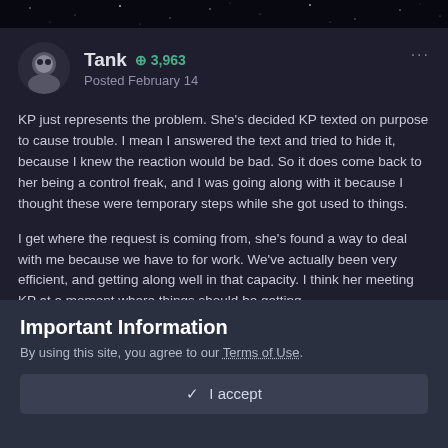Tank • Posted February 14
KP just represents the problem. She's decided KP texted on purpose to cause trouble. I mean I answered the text and tried to hide it, because I knew the reaction would be bad. So it does come back to her being a control freak, and I was going along with it because I thought these were temporary steps while she got used to things.
I get where the request is coming from, she's found a way to deal with me because we have to for work. We've actually been very efficient, and getting along well in that capacity. I think her meeting KP at a moment where things should be getting
Important Information
By using this site, you agree to our Terms of Use.
✓ I accept